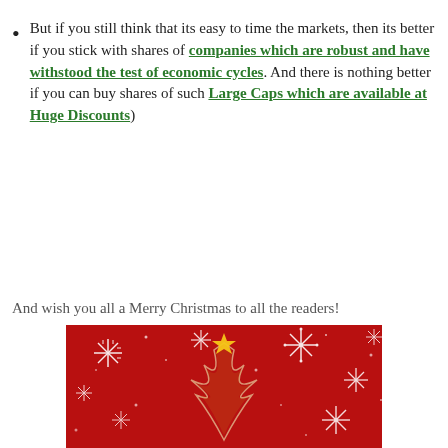But if you still think that its easy to time the markets, then its better if you stick with shares of companies which are robust and have withstood the test of economic cycles. And there is nothing better if you can buy shares of such Large Caps which are available at Huge Discounts)
And wish you all a Merry Christmas to all the readers!
[Figure (photo): Red Christmas background with white snowflakes and a stylized Christmas tree with a gold star on top]